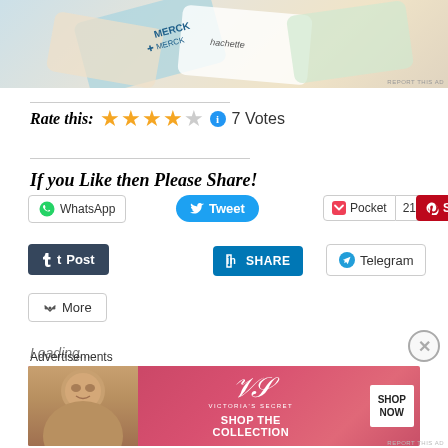[Figure (photo): Top advertisement banner showing Merck branded cards/packaging items scattered]
REPORT THIS AD
Rate this: ★★★★☆ ℹ 7 Votes
If you Like then Please Share!
[Figure (infographic): Social sharing buttons: WhatsApp, Tweet, Pocket (21), Save (13K+), Post (Tumblr), LinkedIn SHARE, Telegram, More]
Loading...
Advertisements
[Figure (photo): Victoria's Secret advertisement banner: model photo on left, Victoria's Secret logo and SHOP THE COLLECTION text in center, SHOP NOW button on right]